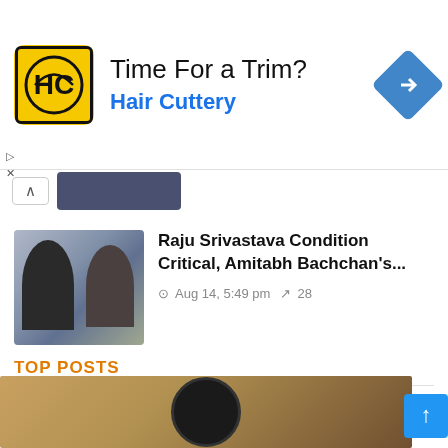[Figure (screenshot): Advertisement banner for Hair Cuttery with yellow HC logo, text 'Time For a Trim?' and 'Hair Cuttery' in blue, and a blue diamond navigation icon on the right]
[Figure (photo): Thumbnail photo showing two people, partially visible collapsed article preview]
Raju Srivastava Condition Critical, Amitabh Bachchan's...
Aug 14, 5:49 pm  28
TOP POSTS
[Figure (photo): Bottom image strip showing a dark circular object (helmet/tire) against a blurred brown/orange background]